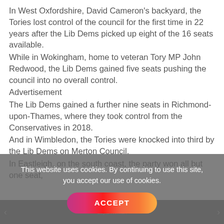In West Oxfordshire, David Cameron's backyard, the Tories lost control of the council for the first time in 22 years after the Lib Dems picked up eight of the 16 seats available.
While in Wokingham, home to veteran Tory MP John Redwood, the Lib Dems gained five seats pushing the council into no overall control.
Advertisement
The Lib Dems gained a further nine seats in Richmond-upon-Thames, where they took control from the Conservatives in 2018.
And in Wimbledon, the Tories were knocked into third by the Lib Dems on Merton Council.
In Eastleigh, on the south coast, the party won all but one seat,
This website uses cookies. By continuing to use this site, you accept our use of cookies.
ACCEPT